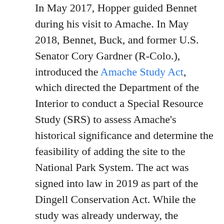In May 2017, Hopper guided Bennet during his visit to Amache. In May 2018, Bennet, Buck, and former U.S. Senator Cory Gardner (R-Colo.), introduced the Amache Study Act, which directed the Department of the Interior to conduct a Special Resource Study (SRS) to assess Amache's historical significance and determine the feasibility of adding the site to the National Park System. The act was signed into law in 2019 as part of the Dingell Conservation Act. While the study was already underway, the community asked Bennet, Hickenlooper, Neguse and Buck to introduce legislation because, ultimately, adding Amache to the NPS requires Congressional designation.